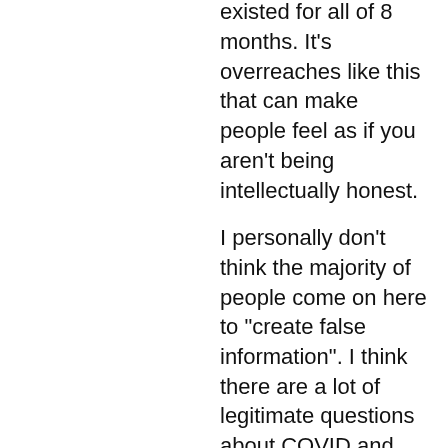virus/vaccine combination that has existed for all of 8 months. It's overreaches like this that can make people feel as if you aren't being intellectually honest.
I personally don't think the majority of people come on here to "create false information". I think there are a lot of legitimate questions about COVID and the answers are often incomplete or contradictory, as you would expect with a novel virus! The jury is still out. That is something we should all be able to agree on, if we still adhere to the strict scientific standards that we have in the past (ie. FDA approval).